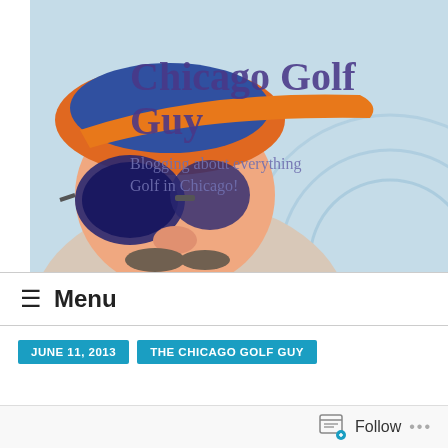[Figure (illustration): Cartoon illustration of a golfer character wearing an orange visor/cap and dark sunglasses, with text overlay reading 'Chicago Golf Guy' and 'Blogging about everything Golf in Chicago!']
Menu
JUNE 11, 2013
THE CHICAGO GOLF GUY
Follow ...